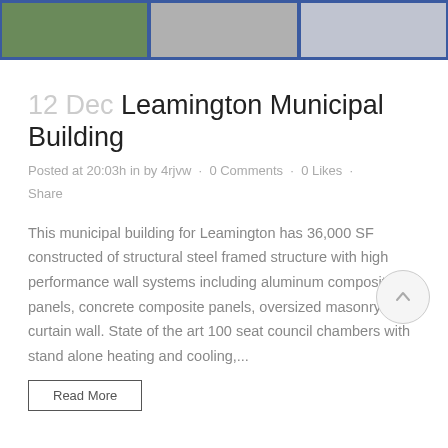[Figure (photo): Banner image showing three photos of the Leamington Municipal Building exterior]
12 Dec Leamington Municipal Building
Posted at 20:03h in by 4rjvw · 0 Comments · 0 Likes · Share
This municipal building for Leamington has 36,000 SF constructed of structural steel framed structure with high performance wall systems including aluminum composite panels, concrete composite panels, oversized masonry and curtain wall. State of the art 100 seat council chambers with stand alone heating and cooling,...
Read More